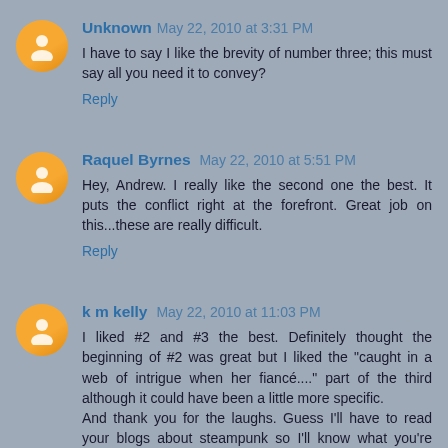Unknown  May 22, 2010 at 3:31 PM
I have to say I like the brevity of number three; this must say all you need it to convey?
Reply
Raquel Byrnes  May 22, 2010 at 5:51 PM
Hey, Andrew. I really like the second one the best. It puts the conflict right at the forefront. Great job on this...these are really difficult.
Reply
k m kelly  May 22, 2010 at 11:03 PM
I liked #2 and #3 the best. Definitely thought the beginning of #2 was great but I liked the "caught in a web of intrigue when her fiancé...." part of the third although it could have been a little more specific.
And thank you for the laughs. Guess I'll have to read your blogs about steampunk so I'll know what you're talking